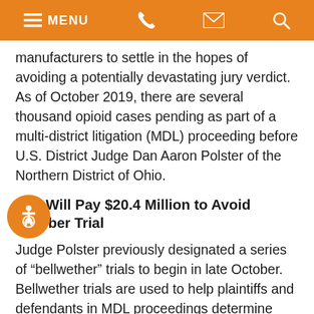MENU (navigation bar with phone, email, search icons)
manufacturers to settle in the hopes of avoiding a potentially devastating jury verdict. As of October 2019, there are several thousand opioid cases pending as part of a multi-district litigation (MDL) proceeding before U.S. District Judge Dan Aaron Polster of the Northern District of Ohio.
J&J Will Pay $20.4 Million to Avoid October Trial
Judge Polster previously designated a series of “bellwether” trials to begin in late October. Bellwether trials are used to help plaintiffs and defendants in MDL proceedings determine their best course of action moving forward. For example, if a bellwether results in a large verdict for the first group of plaintiffs, that might signal the defense that it is best to try and reach a global settlement with the remaining defendants.